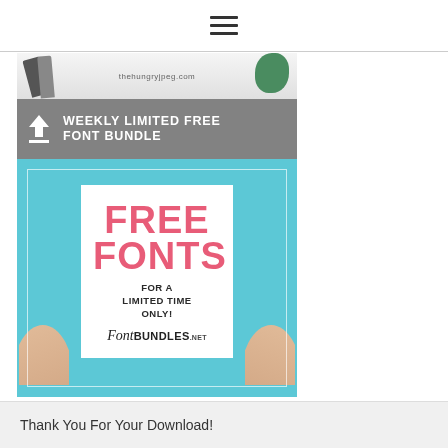≡
[Figure (advertisement): Weekly Limited Free Font Bundle advertisement banner from thehungryjpeg.com with upload icon on grey background, followed by an image showing two hands holding a white card with 'FREE FONTS FOR A LIMITED TIME ONLY!' text in pink/dark, and FontBundles.net logo, on a teal/blue background]
Thank You For Your Download!